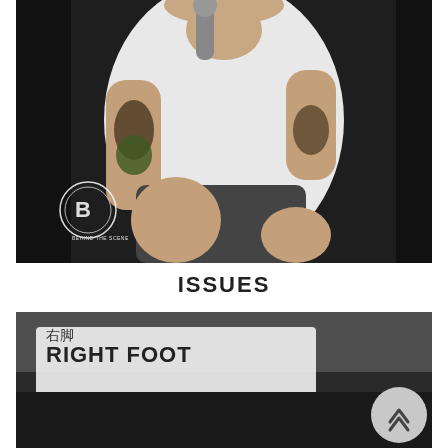[Figure (photo): A tattooed male performer in a white t-shirt and dark shorts, holding a microphone, crouching. Has a 'Behind The Scene' watermark logo in the lower left.]
ISSUES
[Figure (photo): A partial view of another performance scene with a banner reading 'RIGHT FOOT' visible, dark background. A circular back-to-top button is overlaid at the bottom right.]